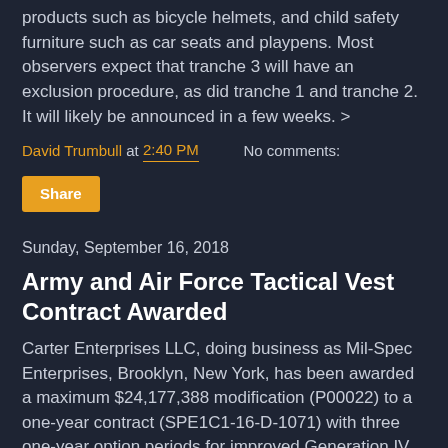products such as bicycle helmets, and child safety furniture such as car seats and playpens. Most observers expect that tranche 3 will have an exclusion procedure, as did tranche 1 and tranche 2. It will likely be announced in a few weeks. >
David Trumbull at 2:40 PM    No comments:
Share
Sunday, September 16, 2018
Army and Air Force Tactical Vest Contract Awarded
Carter Enterprises LLC, doing business as Mil-Spec Enterprises, Brooklyn, New York, has been awarded a maximum $24,177,388 modification (P00022) to a one-year contract (SPE1C1-16-D-1071) with three one-year option periods for improved Generation IV outer tactical vests. This is a firm-fixed-price, indefinite-quantity contract. Location of performance is New York, with a Sept. 15, 2019,